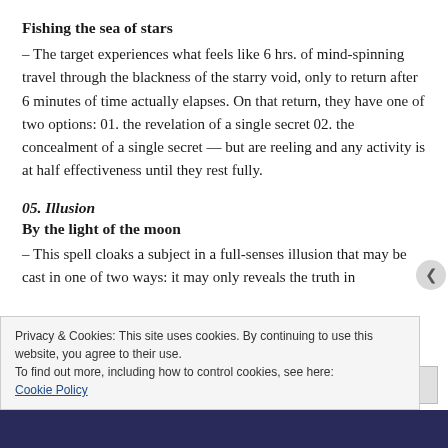Fishing the sea of stars
– The target experiences what feels like 6 hrs. of mind-spinning travel through the blackness of the starry void, only to return after 6 minutes of time actually elapses. On that return, they have one of two options: 01. the revelation of a single secret 02. the concealment of a single secret — but are reeling and any activity is at half effectiveness until they rest fully.
05. Illusion
By the light of the moon
– This spell cloaks a subject in a full-senses illusion that may be cast in one of two ways: it may only reveals the truth in
Privacy & Cookies: This site uses cookies. By continuing to use this website, you agree to their use.
To find out more, including how to control cookies, see here:
Cookie Policy
Close and accept